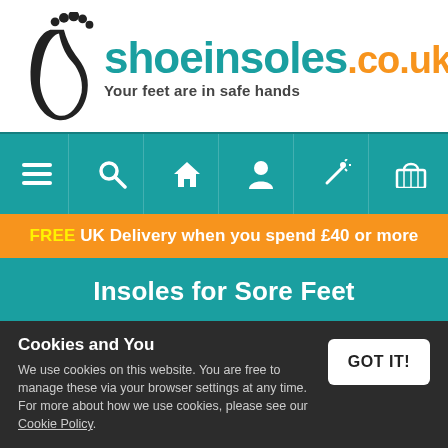[Figure (logo): shoeinsoles.co.uk logo with foot silhouette and tagline 'Your feet are in safe hands']
[Figure (infographic): Navigation bar with teal background containing icons: hamburger menu, search, home, person, magic wand, shopping basket]
FREE UK Delivery when you spend £40 or more
Insoles for Sore Feet
Cookies and You
We use cookies on this website. You are free to manage these via your browser settings at any time. For more about how we use cookies, please see our Cookie Policy.
GOT IT!
Refine Results: